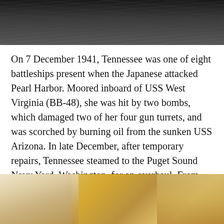[Figure (photo): Black and white aerial or surface photograph of dark ocean water]
On 7 December 1941, Tennessee was one of eight battleships present when the Japanese attacked Pearl Harbor. Moored inboard of USS West Virginia (BB-48), she was hit by two bombs, which damaged two of her four gun turrets, and was scorched by burning oil from the sunken USS Arizona. In late December, after temporary repairs, Tennessee steamed to the Puget Sound Navy Yard, Washington, for an overhaul. From February through August 1942, she operated off the U.S. west coast, then briefly went to Pearl Harbor before returning to Puget Sound for extensive modernization.
[Figure (photo): Indoor museum exhibit photograph showing a large golden/brass bell or dome-shaped object, with display cases and exhibits visible in the background]